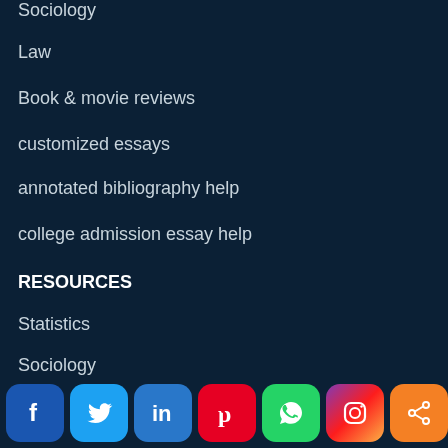Sociology
Law
Book & movie reviews
customized essays
annotated bibliography help
college admission essay help
RESOURCES
Statistics
Sociology
Science
Religion
Psychology